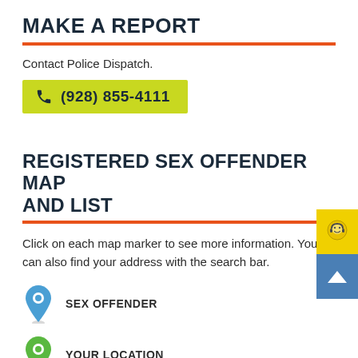MAKE A REPORT
Contact Police Dispatch.
(928) 855-4111
REGISTERED SEX OFFENDER MAP AND LIST
Click on each map marker to see more information. You can also find your address with the search bar.
SEX OFFENDER
YOUR LOCATION